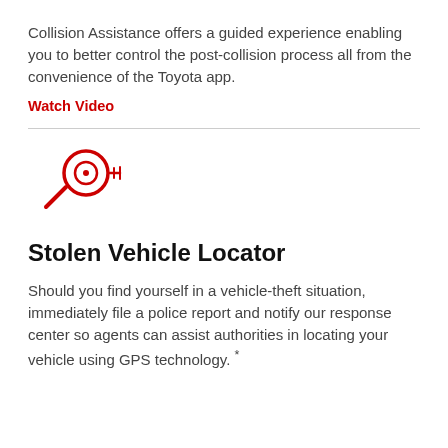Collision Assistance offers a guided experience enabling you to better control the post-collision process all from the convenience of the Toyota app.
Watch Video
[Figure (illustration): Red line-art icon of a magnifying glass with a target/crosshair symbol inside the lens, representing a vehicle locator or search feature.]
Stolen Vehicle Locator
Should you find yourself in a vehicle-theft situation, immediately file a police report and notify our response center so agents can assist authorities in locating your vehicle using GPS technology.*